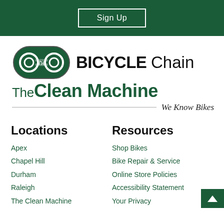Sign Up
[Figure (logo): The Bicycle Chain / The Clean Machine logo with chain link graphic, tagline 'We Know Bikes']
Locations
Apex
Chapel Hill
Durham
Raleigh
The Clean Machine
Resources
Shop Bikes
Bike Repair & Service
Online Store Policies
Accessibility Statement
Your Privacy